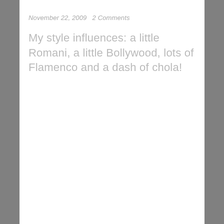November 22, 2009   2 Comments
My style influences: a little Romani, a little Bollywood, lots of Flamenco and a dash of chola!